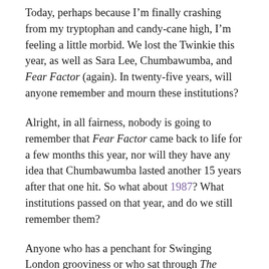Today, perhaps because I'm finally crashing from my tryptophan and candy-cane high, I'm feeling a little morbid. We lost the Twinkie this year, as well as Sara Lee, Chumbawumba, and Fear Factor (again). In twenty-five years, will anyone remember and mourn these institutions?
Alright, in all fairness, nobody is going to remember that Fear Factor came back to life for a few months this year, nor will they have any idea that Chumbawumba lasted another 15 years after that one hit. So what about 1987? What institutions passed on that year, and do we still remember them?
Anyone who has a penchant for Swinging London grooviness or who sat through The Italian Job (the first